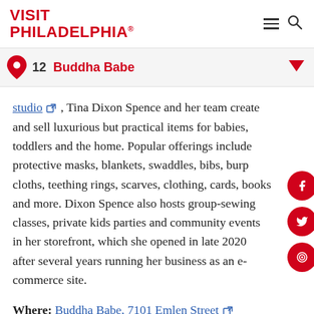VISIT PHILADELPHIA®
12  Buddha Babe
studio ↗ , Tina Dixon Spence and her team create and sell luxurious but practical items for babies, toddlers and the home. Popular offerings include protective masks, blankets, swaddles, bibs, burp cloths, teething rings, scarves, clothing, cards, books and more. Dixon Spence also hosts group-sewing classes, private kids parties and community events in her storefront, which she opened in late 2020 after several years running her business as an e-commerce site.
Where: Buddha Babe, 7101 Emlen Street ↗